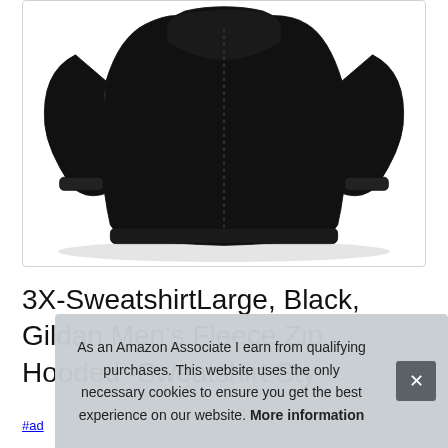[Figure (photo): Black zip-up hoodie sweatshirt on white background, showing front view with zipper and kangaroo-style body, long sleeves with ribbed cuffs]
3X-SweatshirtLarge, Black, Gildan Men's Fleece Zip Hooded -Sweatshirt Sty
#ad
As an Amazon Associate I earn from qualifying purchases. This website uses the only necessary cookies to ensure you get the best experience on our website. More information